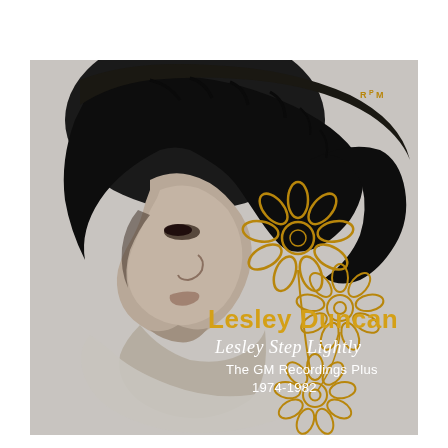[Figure (illustration): Album cover for Lesley Duncan 'Lesley Step Lightly: The GM Recordings Plus 1974-1982'. Black and white photo of a person in profile (side view of face and hair), with decorative golden daisy/flower outlines in the lower right. Text overlaid: 'Lesley Duncan' in gold/yellow, 'Lesley Step Lightly' in white italic script, 'The GM Recordings Plus 1974-1982' in white. RPM logo in upper right corner.]